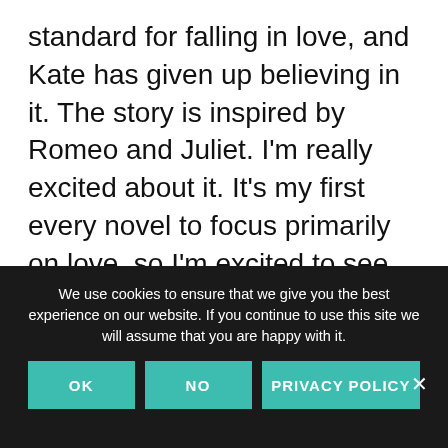standard for falling in love, and Kate has given up believing in it. The story is inspired by Romeo and Juliet. I'm really excited about it. It's my first every novel to focus primarily on love, so I'm excited to see how people like it. It has both the male and female POV. I have a teen guy reading an early draft and says he's loving it (he just doesn't want his identity revealed since it's a chick book!). After that, more
We use cookies to ensure that we give you the best experience on our website. If you continue to use this site we will assume that you are happy with it.